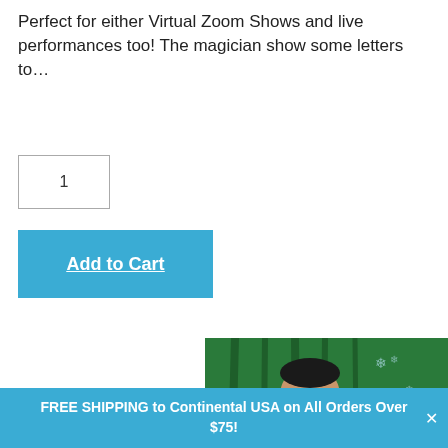Perfect for either Virtual Zoom Shows and live performances too! The magician show some letters to…
1
Add to Cart
[Figure (photo): A smiling magician in a black suit holding a Santa hat in one hand and a Christmas-themed card featuring a cartoon Santa Claus against a green curtain background with snowflakes]
FREE SHIPPING to Continental USA on All Orders Over $75!